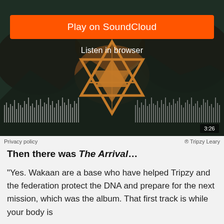[Figure (screenshot): SoundCloud embedded player with dark green/brown background, geometric diamond logo artwork, orange waveform bars, 'Play on SoundCloud' orange button, 'Listen in browser' text, and 3:26 duration badge]
Privacy policy   ® Tripzy Leary
Then there was The Arrival…
"Yes. Wakaan are a base who have helped Tripzy and the federation protect the DNA and prepare for the next mission, which was the album. That first track is while your body is